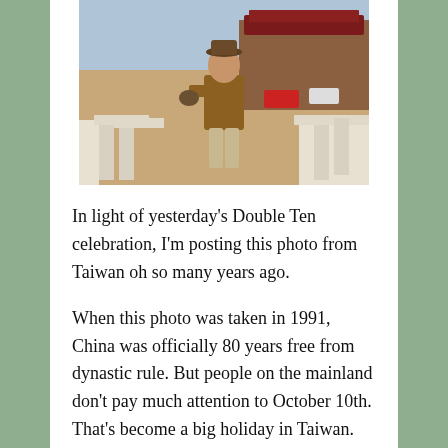[Figure (photo): A person standing at a historic site in Taiwan, wearing a brown jacket and light pants, with ornate white stone railings and a colorful building and cityscape in the background.]
In light of yesterday's Double Ten celebration, I'm posting this photo from Taiwan oh so many years ago.
When this photo was taken in 1991, China was officially 80 years free from dynastic rule. But people on the mainland don't pay much attention to October 10th. That's become a big holiday in Taiwan. Folks in China instead celebrate October 1st, the founding of the People's Republic...